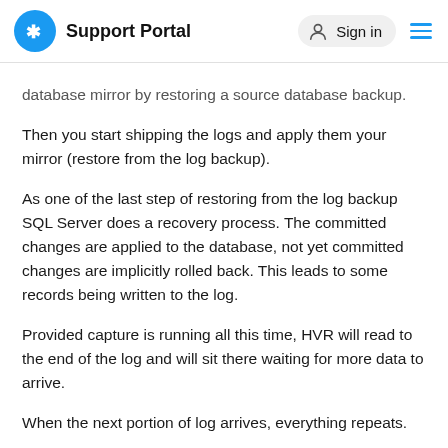Support Portal  Sign in
database mirror by restoring a source database backup.
Then you start shipping the logs and apply them your mirror (restore from the log backup).
As one of the last step of restoring from the log backup SQL Server does a recovery process. The committed changes are applied to the database, not yet committed changes are implicitly rolled back. This leads to some records being written to the log.
Provided capture is running all this time, HVR will read to the end of the log and will sit there waiting for more data to arrive.
When the next portion of log arrives, everything repeats.